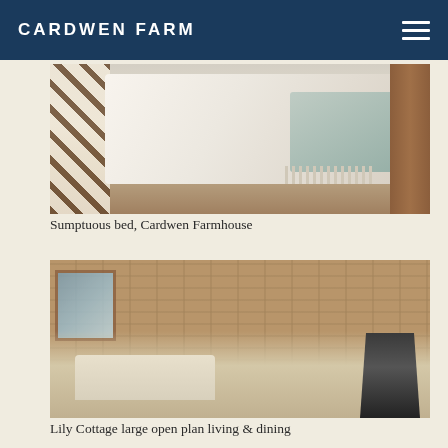CARDWEN FARM
[Figure (photo): Sumptuous bed with white linen and a grey fringed blanket at Cardwen Farmhouse, with a wooden bed frame and cross-pattern headboard]
Sumptuous bed, Cardwen Farmhouse
[Figure (photo): Lily Cottage large open plan living and dining room with exposed stone wall, cream sofas, white coffee table, dining area in background, and a black wood-burning stove]
Lily Cottage large open plan living & dining room